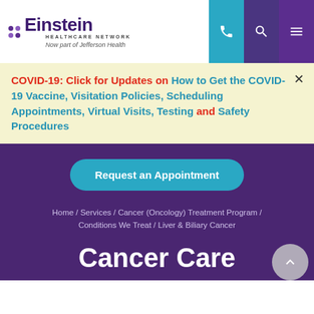[Figure (logo): Einstein Healthcare Network logo — 'Now part of Jefferson Health']
COVID-19: Click for Updates on How to Get the COVID-19 Vaccine, Visitation Policies, Scheduling Appointments, Virtual Visits, Testing and Safety Procedures
Request an Appointment
Home / Services / Cancer (Oncology) Treatment Program / Conditions We Treat / Liver & Biliary Cancer
Cancer Care